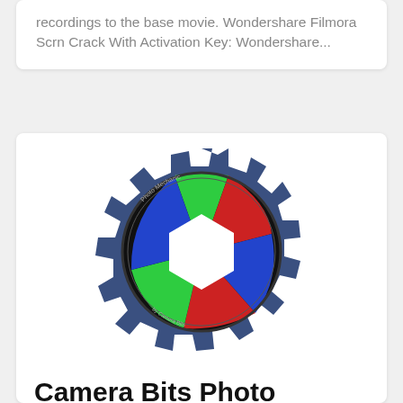recordings to the base movie. Wondershare Filmora Scrn Crack With Activation Key: Wondershare...
[Figure (logo): Camera Bits Photo Mechanic gear and lens aperture logo with red, green and blue segments and white hexagon center on a dark blue gear background]
Camera Bits Photo Mechanic 6.0 Crack With License Key Free